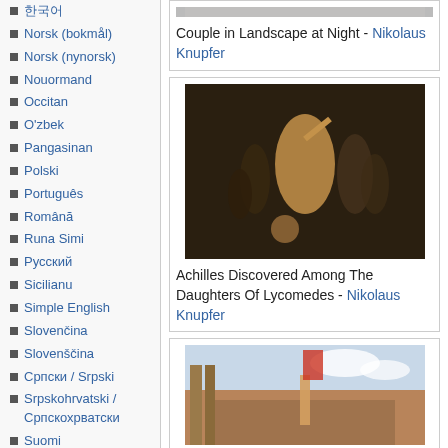한국어
Norsk (bokmål)
Norsk (nynorsk)
Nouormand
Occitan
O'zbek
Pangasinan
Polski
Português
Română
Runa Simi
Русский
Sicilianu
Simple English
Slovenčina
Slovenščina
Српски / Srpski
Srpskohrvatski / Српскохрватски
Suomi
Svenska
Tagalog
తెలుగు
ไทย
Tiếng Việt
[Figure (photo): A painting showing a couple in a dark landscape at night]
Couple in Landscape at Night - Nikolaus Knupfer
[Figure (photo): Achilles Discovered Among The Daughters Of Lycomedes painting by Nikolaus Knupfer, showing a scene with multiple figures in a dark interior]
Achilles Discovered Among The Daughters Of Lycomedes - Nikolaus Knupfer
[Figure (photo): A large painting showing a crowd scene outdoors with classical architecture]